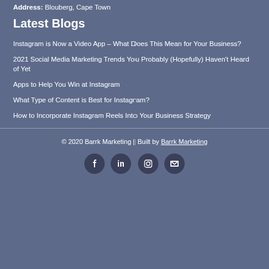Address: Blouberg, Cape Town
Latest Blogs
Instagram is Now a Video App – What Does This Mean for Your Business?
2021 Social Media Marketing Trends You Probably (Hopefully) Haven't Heard of Yet
Apps to Help You Win at Instagram
What Type of Content is Best for Instagram?
How to Incorporate Instagram Reels Into Your Business Strategy
© 2020 Barrk Marketing | Built by Barrk Marketing